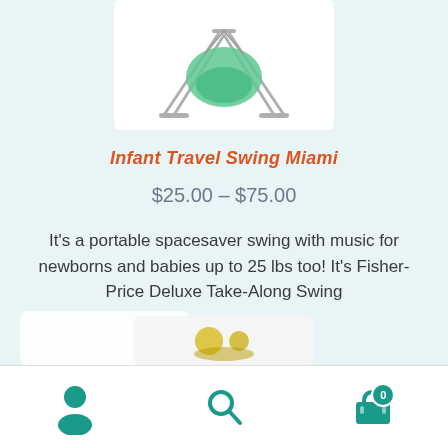[Figure (photo): Infant travel swing product image — Fisher-Price Deluxe Take-Along Swing in green/teal color on a white background]
Infant Travel Swing Miami
$25.00 – $75.00
It's a portable spacesaver swing with music for newborns and babies up to 25 lbs too! It's Fisher-Price Deluxe Take-Along Swing
SELECT OPTIONS
[Figure (screenshot): Bottom navigation bar with user account icon, search icon, and cart icon showing badge count of 0]